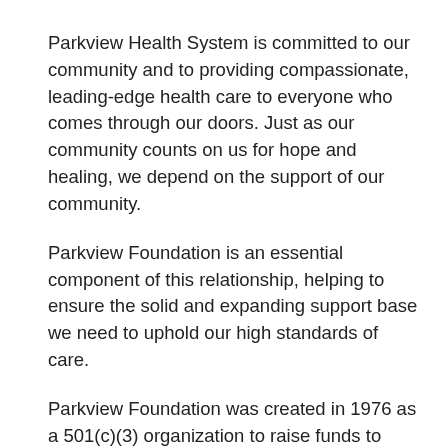Parkview Health System is committed to our community and to providing compassionate, leading-edge health care to everyone who comes through our doors. Just as our community counts on us for hope and healing, we depend on the support of our community.
Parkview Foundation is an essential component of this relationship, helping to ensure the solid and expanding support base we need to uphold our high standards of care.
Parkview Foundation was created in 1976 as a 501(c)(3) organization to raise funds to meet the rising cost of expansion and renovation of hospital facilities. Over the past three decades, the Foundation has been involved in many projects ranging from fundraising events, sponsoring employee recognition awards and supporting healthcare scholarships. All have been implemented with the sole